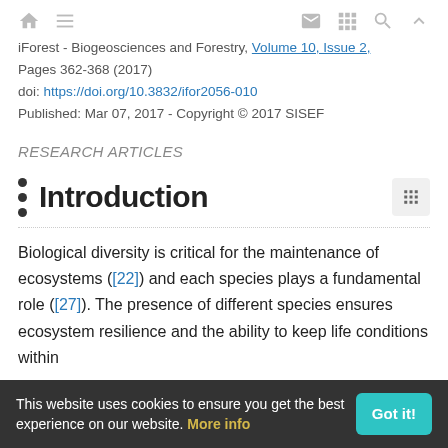iForest - Biogeosciences and Forestry, Volume 10, Issue 2, Pages 362-368 (2017)
doi: https://doi.org/10.3832/ifor2056-010
Published: Mar 07, 2017 - Copyright © 2017 SISEF
RESEARCH ARTICLES
Introduction
Biological diversity is critical for the maintenance of ecosystems ([22]) and each species plays a fundamental role ([27]). The presence of different species ensures ecosystem resilience and the ability to keep life conditions within